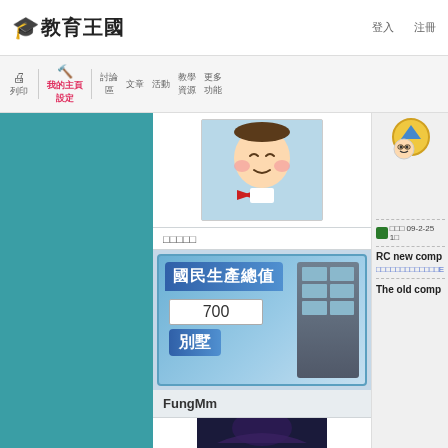🎓 教育王國
[Figure (screenshot): Website navigation bar with icons and Chinese menu items]
[Figure (illustration): Cartoon cute child character with red bow tie on light blue background]
□□□□□
[Figure (screenshot): Game screenshot showing 國民生產總值 (GNP) with value 700 and 別墅 (Villa) label, building graphic]
FungMm
[Figure (illustration): Harry Potter fantasy illustration with dark blue and purple tones]
[Figure (illustration): Character holding up arrow sign on right sidebar]
□□□ 09-2-25 1□
RC new comp
□□□□□□□□□□□□□E
The old comp